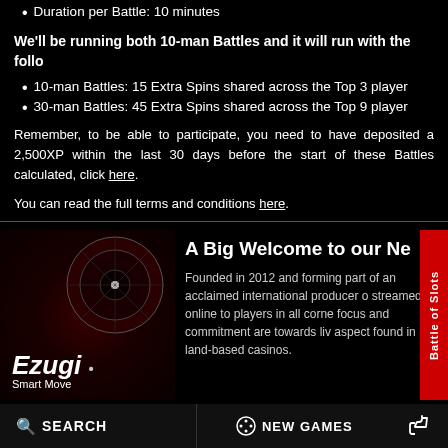Duration per Battle: 10 minutes
We'll be running both 10-man Battles and it will run with the follo
10-man Battles: 15 Extra Spins shared across the Top 3 player
30-man Battles: 45 Extra Spins shared across the Top 9 player
Remember, to be able to participate, you need to have deposited a 2,500XP within the last 30 days before the start of these Battles calculated, click here.
You can read the full terms and conditions here.
A Big Welcome to our Ne
Founded in 2012 and forming part of an acclaimed international producer o streamed online to players in all corne focus and commitment are towards liv aspect found in land-based casinos.
Posted News • Aug 22 2022
The Week with Games Starts
SEARCH   NEW GAMES